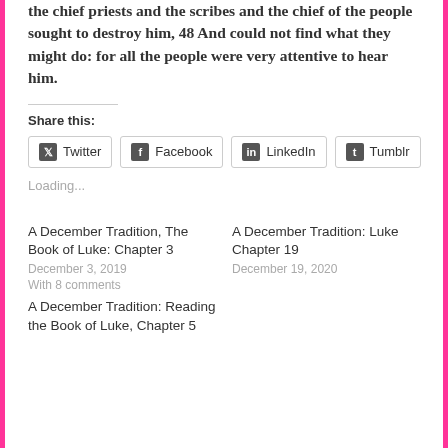the chief priests and the scribes and the chief of the people sought to destroy him, 48 And could not find what they might do: for all the people were very attentive to hear him.
Share this:
Twitter Facebook LinkedIn Tumblr
Loading...
A December Tradition, The Book of Luke: Chapter 3
December 3, 2019
With 8 comments
A December Tradition: Luke Chapter 19
December 19, 2020
A December Tradition: Reading the Book of Luke, Chapter 5